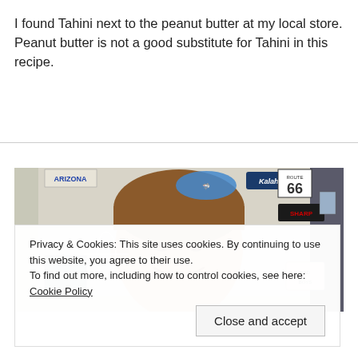I found Tahini next to the peanut butter at my local store. Peanut butter is not a good substitute for Tahini in this recipe.
[Figure (photo): A young boy smiling in front of a wall covered with various stickers and magnets including an Arizona sign, Route 66 sign, Kalahari sign, shark sticker, and other colorful decorations.]
Privacy & Cookies: This site uses cookies. By continuing to use this website, you agree to their use.
To find out more, including how to control cookies, see here: Cookie Policy
Close and accept